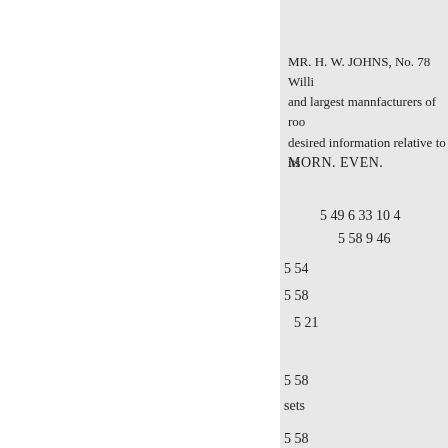MR. H. W. JOHNS, No. 78 Willi and largest mannfacturers of roo desired information relative to its
MORN. EVEN.
5 49 6 33 10 4
5 58 9 46
5 54
5 58
5 21
5 58
sets
5 58